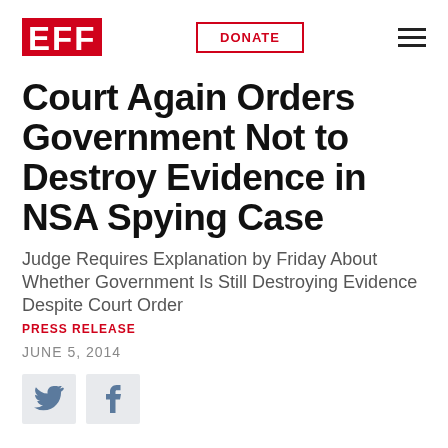EFF | DONATE
Court Again Orders Government Not to Destroy Evidence in NSA Spying Case
Judge Requires Explanation by Friday About Whether Government Is Still Destroying Evidence Despite Court Order
PRESS RELEASE
JUNE 5, 2014
[Figure (other): Twitter and Facebook social share icons]